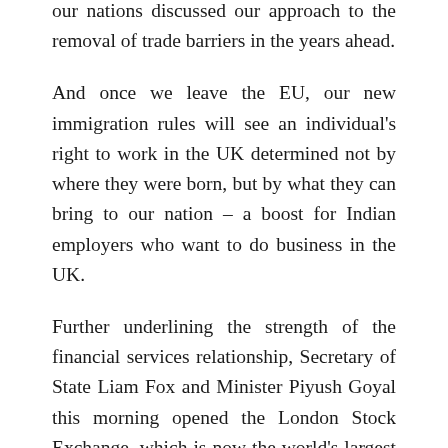our nations discussed our approach to the removal of trade barriers in the years ahead.
And once we leave the EU, our new immigration rules will see an individual's right to work in the UK determined not by where they were born, but by what they can bring to our nation – a boost for Indian employers who want to do business in the UK.
Further underlining the strength of the financial services relationship, Secretary of State Liam Fox and Minister Piyush Goyal this morning opened the London Stock Exchange, which is now the world's largest rupee-denominated Masala bond centre.
Over the past two-and-a-half years, Indian issuers have raised over £5.7 billion on the London Stock Exchange through